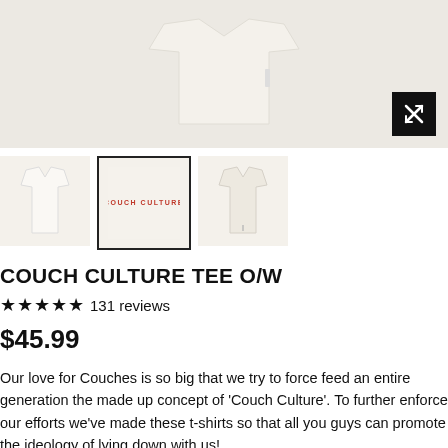[Figure (photo): Main product image of a cream/off-white t-shirt on a light beige background with expand icon button in bottom right corner]
[Figure (photo): Three thumbnail images of the Couch Culture tee: front view, text print view showing 'COUCH CULTURE' in red, and side/back view]
COUCH CULTURE TEE O/W
★★★★★ 131 reviews
$45.99
Our love for Couches is so big that we try to force feed an entire generation the made up concept of 'Couch Culture'. To further enforce our efforts we've made these t-shirts so that all you guys can promote the ideology of lying down with us!